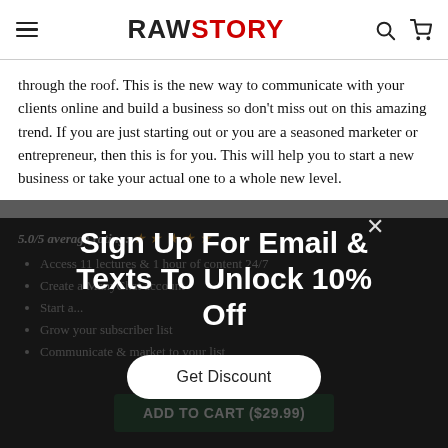RAWSTORY
through the roof. This is the new way to communicate with your clients online and build a business so don't miss out on this amazing trend. If you are just starting out or you are a seasoned marketer or entrepreneur, then this is for you. This will help you to start a new business or take your actual one to a whole new level.
5.0/5 average rating: ★★★★★
Access 11 lectures & 1 hour of content 24/7
Create a ManyChat account
Start a...
Grow your subscriber list
Communicate & market to your list
Sign Up For Email & Texts To Unlock 10% Off
Get Discount